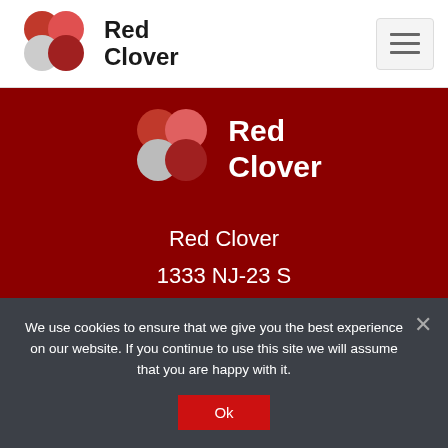[Figure (logo): Red Clover logo in header — four circular petal shapes (dark red, light red/pink, light gray, dark red) arranged in a clover pattern, with bold text 'Red Clover' to the right]
[Figure (logo): Red Clover logo centered in dark red background section — same four-petal clover icon with 'Red Clover' text in white]
Red Clover
1333 NJ-23 S
Butler, NJ 07405
Direct: 973-797-0557
We use cookies to ensure that we give you the best experience on our website. If you continue to use this site we will assume that you are happy with it.